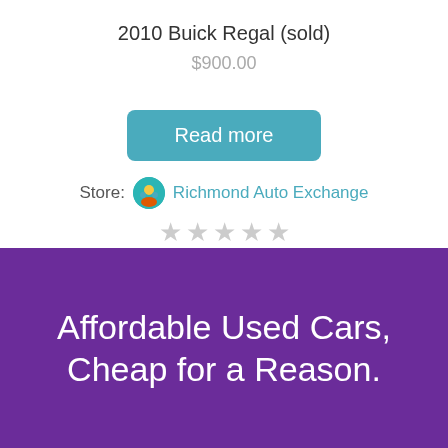[Figure (photo): Top portion of a car photo (cropped), showing the roof/hood area in grey tones]
2010 Buick Regal (sold)
$900.00
Read more
Store: Richmond Auto Exchange
[Figure (other): Five empty star rating icons (all unselected/grey)]
Affordable Used Cars, Cheap for a Reason.